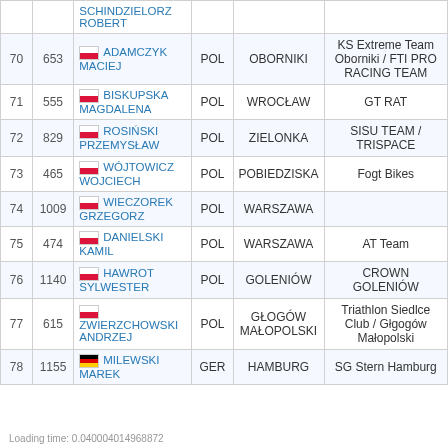| # | BIB | Name | NAT | City | Team |
| --- | --- | --- | --- | --- | --- |
|  |  | SCHINDZIELORZ ROBERT |  |  |  |
| 70 | 653 | ADAMCZYK MACIEJ | POL | OBORNIKI | KS Extreme Team Oborniki / FTI PRO RACING TEAM |
| 71 | 555 | BISKUPSKA MAGDALENA | POL | WROCŁAW | GT RAT |
| 72 | 829 | ROSIŃSKI PRZEMYSŁAW | POL | ZIELONKA | SISU TEAM / TRISPACE |
| 73 | 465 | WÓJTOWICZ WOJCIECH | POL | POBIEDZISKA | Fogt Bikes |
| 74 | 1009 | WIECZOREK GRZEGORZ | POL | WARSZAWA |  |
| 75 | 474 | DANIELSKI KAMIL | POL | WARSZAWA | AT Team |
| 76 | 1140 | HAWROT SYLWESTER | POL | GOLENIÓW | CROWN GOLENIÓW |
| 77 | 615 | ZWIERZCHOWSKI ANDRZEJ | POL | GŁOGÓW MAŁOPOLSKI | Triathlon Siedlce Club / Głgogów Małopolski |
| 78 | 1155 | MILEWSKI MAREK | GER | HAMBURG | SG Stern Hamburg |
Loading time: 0.040004014968872